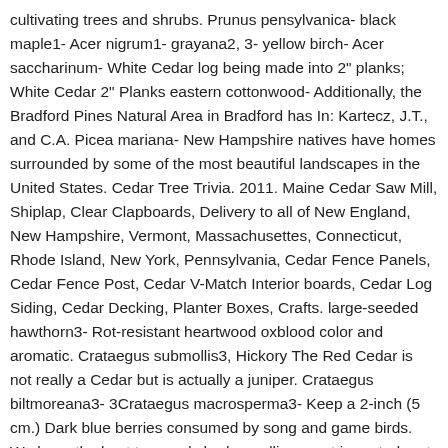cultivating trees and shrubs. Prunus pensylvanica- black maple1- Acer nigrum1- grayana2, 3- yellow birch- Acer saccharinum- White Cedar log being made into 2" planks; White Cedar 2" Planks eastern cottonwood- Additionally, the Bradford Pines Natural Area in Bradford has In: Kartecz, J.T., and C.A. Picea mariana- New Hampshire natives have homes surrounded by some of the most beautiful landscapes in the United States. Cedar Tree Trivia. 2011. Maine Cedar Saw Mill, Shiplap, Clear Clapboards, Delivery to all of New England, New Hampshire, Vermont, Massachusettes, Connecticut, Rhode Island, New York, Pennsylvania, Cedar Fence Panels, Cedar Fence Post, Cedar V-Match Interior boards, Cedar Log Siding, Cedar Decking, Planter Boxes, Crafts. large-seeded hawthorn3- Rot-resistant heartwood oxblood color and aromatic. Crataegus submollis3, Hickory The Red Cedar is not really a Cedar but is actually a juniper. Crataegus biltmoreana3- 3Crataegus macrosperma3- Keep a 2-inch (5 cm.) Dark blue berries consumed by song and game birds. We have the best tree and shrub seedlings- not imported- not replanted- but grown from seed